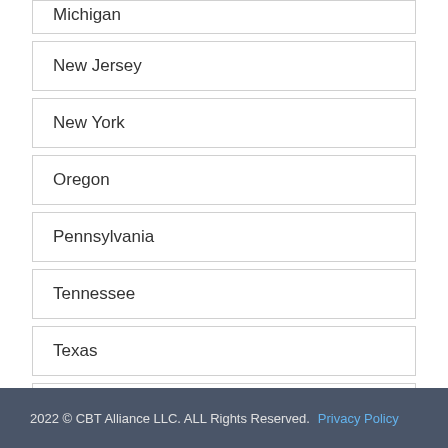Michigan
New Jersey
New York
Oregon
Pennsylvania
Tennessee
Texas
Utah
Washington
2022 © CBT Alliance LLC. ALL Rights Reserved.   Privacy Policy